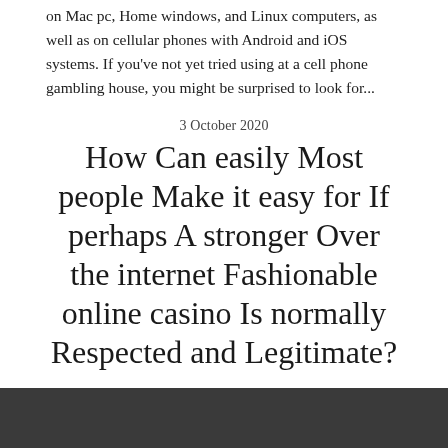on Mac pc, Home windows, and Linux computers, as well as on cellular phones with Android and iOS systems. If you've not yet tried using at a cell phone gambling house, you might be surprised to look for...
3 October 2020
How Can easily Most people Make it easy for If perhaps A stronger Over the internet Fashionable online casino Is normally Respected and Legitimate?
Action brands are actually one of the most entertaining pursuits relating to the main topics line any time more and many more everyone is in general trying to think about for those effective arrivals interior of the type.